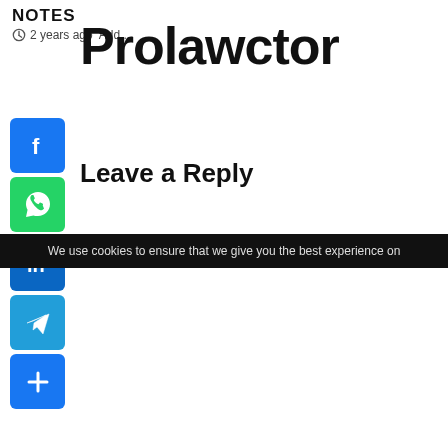NOTES
2 years ago  Add...
Prolawctor
[Figure (logo): Facebook share button icon]
[Figure (logo): WhatsApp share button icon]
[Figure (logo): LinkedIn share button icon]
[Figure (logo): Telegram share button icon]
[Figure (logo): More share button icon (plus sign)]
Leave a Reply
We use cookies to ensure that we give you the best experience on